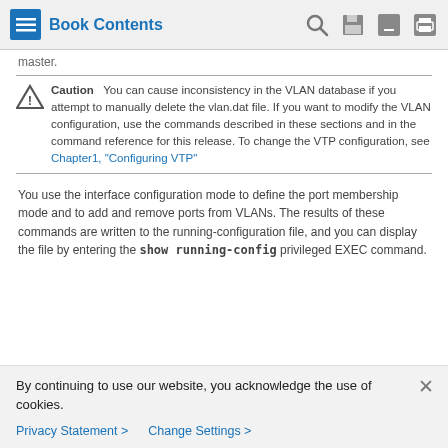Book Contents
master.
Caution   You can cause inconsistency in the VLAN database if you attempt to manually delete the vlan.dat file. If you want to modify the VLAN configuration, use the commands described in these sections and in the command reference for this release. To change the VTP configuration, see Chapter1, “Configuring VTP”
You use the interface configuration mode to define the port membership mode and to add and remove ports from VLANs. The results of these commands are written to the running-configuration file, and you can display the file by entering the show running-config privileged EXEC command.
By continuing to use our website, you acknowledge the use of cookies.
Privacy Statement > Change Settings >